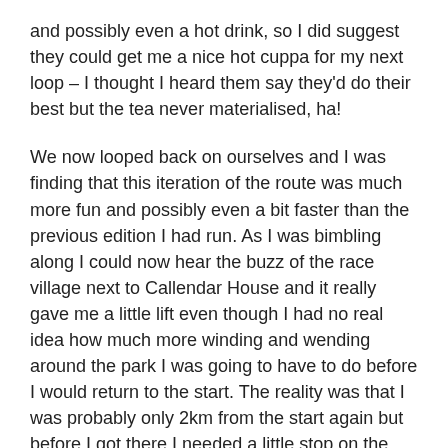and possibly even a hot drink, so I did suggest they could get me a nice hot cuppa for my next loop – I thought I heard them say they'd do their best but the tea never materialised, ha!
We now looped back on ourselves and I was finding that this iteration of the route was much more fun and possibly even a bit faster than the previous edition I had run. As I was bimbling along I could now hear the buzz of the race village next to Callendar House and it really gave me a little lift even though I had no real idea how much more winding and wending around the park I was going to have to do before I would return to the start. The reality was that I was probably only 2km from the start again but before I got there I needed a little stop on the last downhill of the loop.